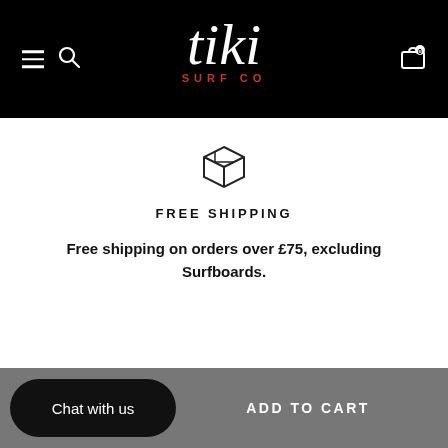Tiki Surf Co — navigation header with menu, search, logo, and cart
[Figure (illustration): A 3D box/package icon (outline style) representing shipping]
FREE SHIPPING
Free shipping on orders over £75, excluding Surfboards.
Chat with us
ADD TO CART